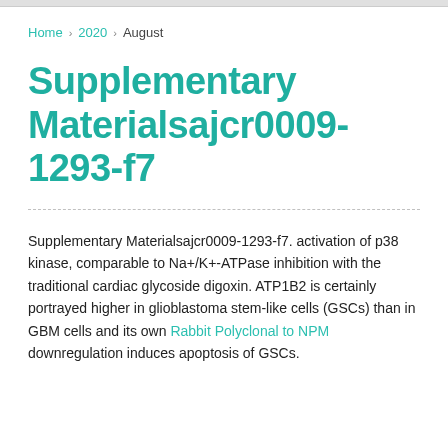Home > 2020 > August
Supplementary Materialsajcr0009-1293-f7
Supplementary Materialsajcr0009-1293-f7. activation of p38 kinase, comparable to Na+/K+-ATPase inhibition with the traditional cardiac glycoside digoxin. ATP1B2 is certainly portrayed higher in glioblastoma stem-like cells (GSCs) than in GBM cells and its own Rabbit Polyclonal to NPM downregulation induces apoptosis of GSCs.